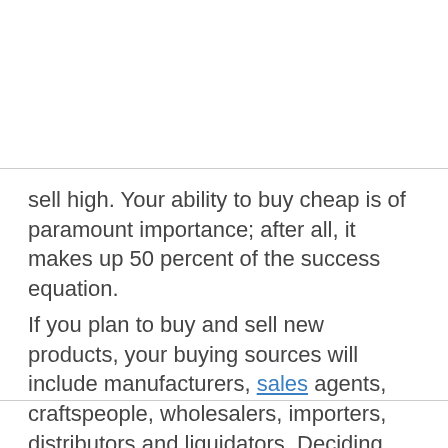sell high. Your ability to buy cheap is of paramount importance; after all, it makes up 50 percent of the success equation.
If you plan to buy and sell new products, your buying sources will include manufacturers, sales agents, craftspeople, wholesalers, importers, distributors and liquidators. Deciding whom you will buy from will be largely based on criteria relative to your